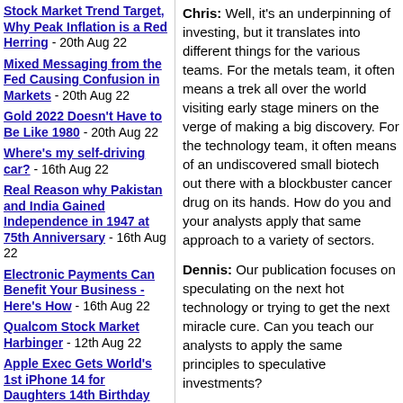Stock Market Trend Target, Why Peak Inflation is a Red Herring - 20th Aug 22
Mixed Messaging from the Fed Causing Confusion in Markets - 20th Aug 22
Gold 2022 Doesn't Have to Be Like 1980 - 20th Aug 22
Where's my self-driving car? - 16th Aug 22
Real Reason why Pakistan and India Gained Independence in 1947 at 75th Anniversary - 16th Aug 22
Electronic Payments Can Benefit Your Business - Here's How - 16th Aug 22
Qualcom Stock Market Harbinger - 12th Aug 22
Apple Exec Gets World's 1st iPhone 14 for Daughters 14th Birthday Surprise Present Unboxing! - 12th Aug 22
Chris: Well, it's an underpinning of investing, but it translates into different things for the various teams. For the metals team, it often means a trek all over the world visiting early stage miners on the verge of making a big discovery. For the technology team, it often means digging into an undiscovered small biotech out there with a blockbuster cancer drug on its hands. How do you and your analysts apply that same approach to a variety of sectors.
Dennis: Our publication focuses on speculating on the next hot technology or trying to get the next miracle cure. Can you teach our analysts to apply the same principles to speculative investments?
Chris: Well, let's look at what you need — a safe portfolio that beats inflation and provides income so your subscribers can retire with a mix of utility stocks and holding a few...
Your subscribers need income and that means we look well past charts and much deeper than just reading the...